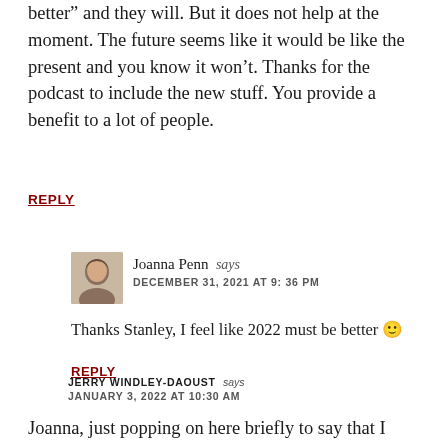better” and they will. But it does not help at the moment. The future seems like it would be like the present and you know it won’t. Thanks for the podcast to include the new stuff. You provide a benefit to a lot of people.
REPLY
Joanna Penn says
DECEMBER 31, 2021 AT 9:36 PM
Thanks Stanley, I feel like 2022 must be better 😊
REPLY
JERRY WINDLEY-DAOUST says
JANUARY 3, 2022 AT 10:30 AM
Joanna, just popping on here briefly to say that I really